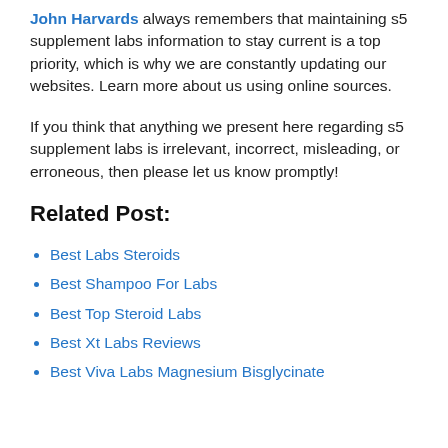John Harvards always remembers that maintaining s5 supplement labs information to stay current is a top priority, which is why we are constantly updating our websites. Learn more about us using online sources.
If you think that anything we present here regarding s5 supplement labs is irrelevant, incorrect, misleading, or erroneous, then please let us know promptly!
Related Post:
Best Labs Steroids
Best Shampoo For Labs
Best Top Steroid Labs
Best Xt Labs Reviews
Best Viva Labs Magnesium Bisglycinate